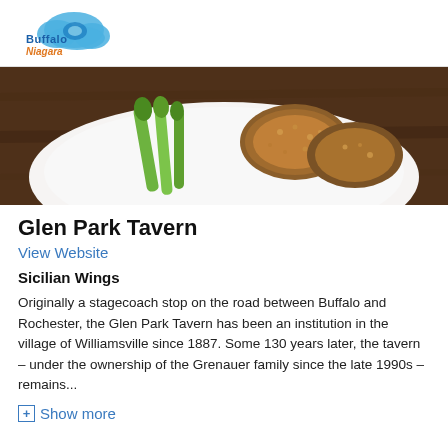Buffalo Niagara (logo)
[Figure (photo): Close-up photo of a white plate with Sicilian wings (fried chicken wings coated in seasoning) and celery stalks on a dark wooden table background.]
Glen Park Tavern
View Website
Sicilian Wings
Originally a stagecoach stop on the road between Buffalo and Rochester, the Glen Park Tavern has been an institution in the village of Williamsville since 1887. Some 130 years later, the tavern – under the ownership of the Grenauer family since the late 1990s – remains...
Show more